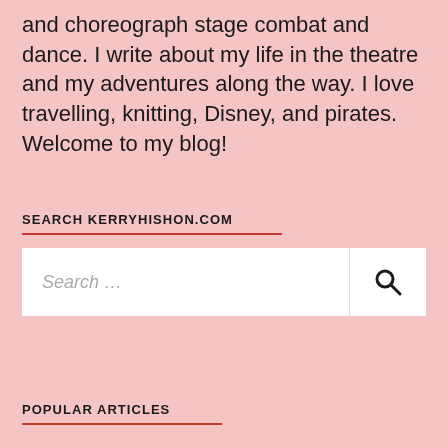and choreograph stage combat and dance. I write about my life in the theatre and my adventures along the way. I love travelling, knitting, Disney, and pirates. Welcome to my blog!
SEARCH KERRYHISHON.COM
Search …
POPULAR ARTICLES